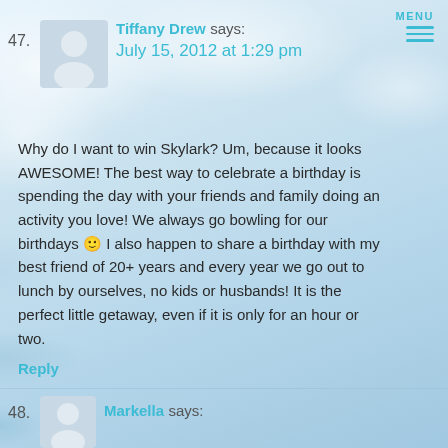MENU
47. Tiffany Drew says:
July 15, 2012 at 1:29 pm
Why do I want to win Skylark? Um, because it looks AWESOME! The best way to celebrate a birthday is spending the day with your friends and family doing an activity you love! We always go bowling for our birthdays 🙂 I also happen to share a birthday with my best friend of 20+ years and every year we go out to lunch by ourselves, no kids or husbands! It is the perfect little getaway, even if it is only for an hour or two.
Reply
48. Markella says: